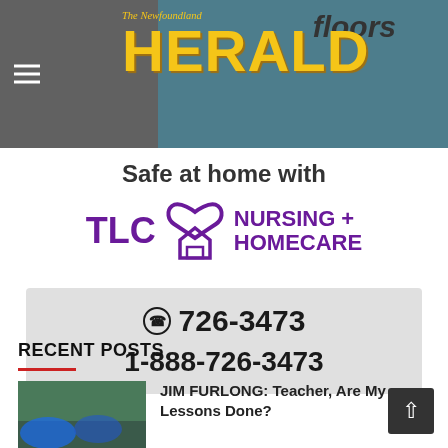The Newfoundland HERALD
[Figure (logo): The Newfoundland Herald logo with golden HERALD text on grey/teal background, with hamburger menu icon]
[Figure (infographic): TLC Nursing + Homecare advertisement. Safe at home with TLC Nursing + Homecare. Heart and house logo in purple. Phone: 726-3473, 1-888-726-3473.]
RECENT POSTS
[Figure (photo): Outdoor photo with blue tarp/tent scene]
JIM FURLONG: Teacher, Are My Lessons Done?